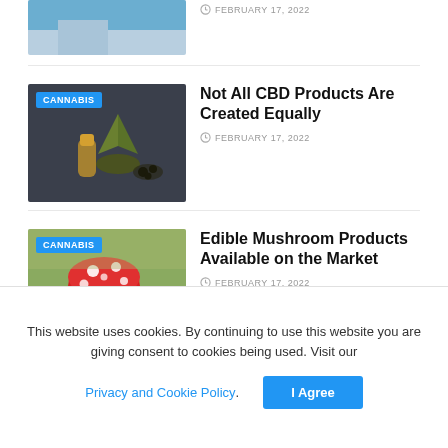[Figure (photo): Partial top-cropped image of a person in blue shirt, cannabis article thumbnail]
FEBRUARY 17, 2022
[Figure (photo): CBD products photo: cannabis leaf, oil dropper bottle, seeds on dark background. CANNABIS badge overlay.]
Not All CBD Products Are Created Equally
FEBRUARY 17, 2022
[Figure (photo): Red and white mushroom (Amanita) on mossy ground. CANNABIS badge overlay.]
Edible Mushroom Products Available on the Market
FEBRUARY 17, 2022
[Figure (photo): Light grey placeholder image for CBD Gummies article. CANNABIS badge overlay.]
Are CBD Gummies Safe and Effective?
FEBRUARY 17, 2022
This website uses cookies. By continuing to use this website you are giving consent to cookies being used. Visit our Privacy and Cookie Policy. I Agree